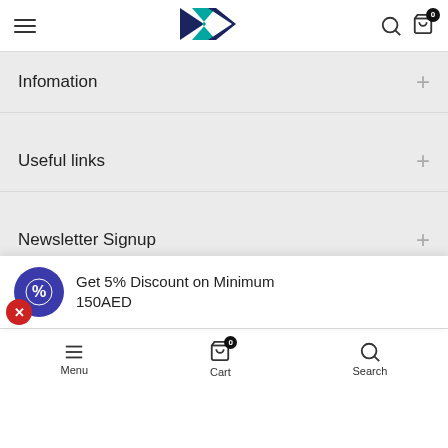[Figure (logo): Brand logo with stylized arrow/Z shape in navy and teal]
Infomation
Useful links
Newsletter Signup
Get 5% Discount on Minimum 150AED
Menu  Cart  Search